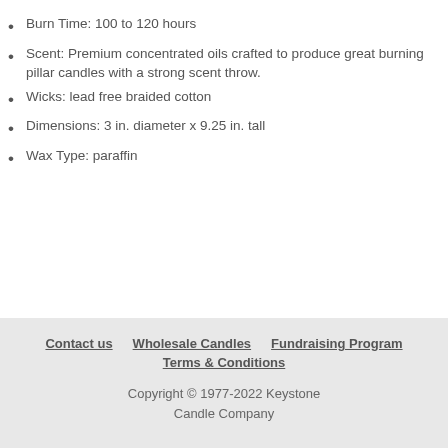Burn Time: 100 to 120 hours
Scent: Premium concentrated oils crafted to produce great burning pillar candles with a strong scent throw.
Wicks: lead free braided cotton
Dimensions: 3 in. diameter x 9.25 in. tall
Wax Type: paraffin
Contact us   Wholesale Candles   Fundraising Program   Terms & Conditions   Copyright © 1977-2022 Keystone Candle Company